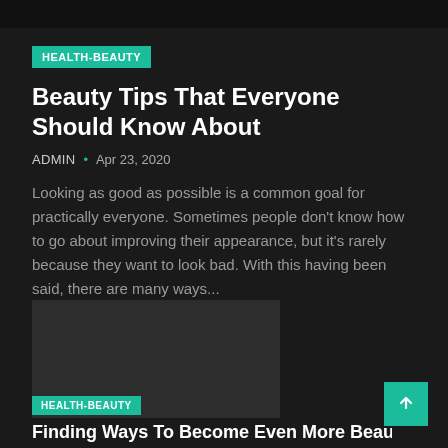HEALTH-BEAUTY
Beauty Tips That Everyone Should Know About
ADMIN • Apr 23, 2020
Looking as good as possible is a common goal for practically everyone. Sometimes people don't know how to go about improving their appearance, but it's rarely because they want to look bad. With this having been said, there are many ways...
[Figure (photo): Dark placeholder image for a second article]
HEALTH-BEAUTY
Finding Ways To Become Even More Beautiful...